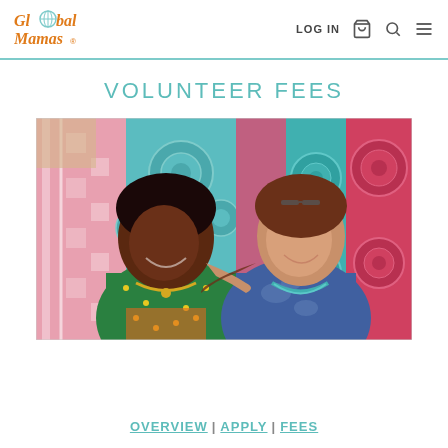Global Mamas | LOG IN
VOLUNTEER FEES
[Figure (photo): Two smiling women posing together in front of colorful African fabric/batik textiles. The woman on the left wears a green and yellow African print outfit, the woman on the right wears a blue floral outfit with a turquoise necklace.]
OVERVIEW | APPLY | FEES